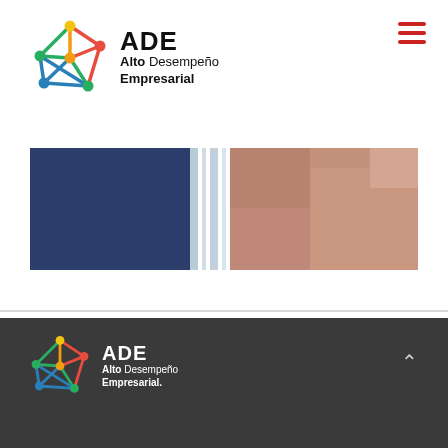[Figure (logo): ADE Alto Desempeño Empresarial logo with colorful geometric network icon (top, white background)]
[Figure (photo): Close-up photograph of a person in a suit, abstract/blurred business image]
[Figure (logo): ADE Alto Desempeño Empresarial logo repeated in footer on dark grey background]